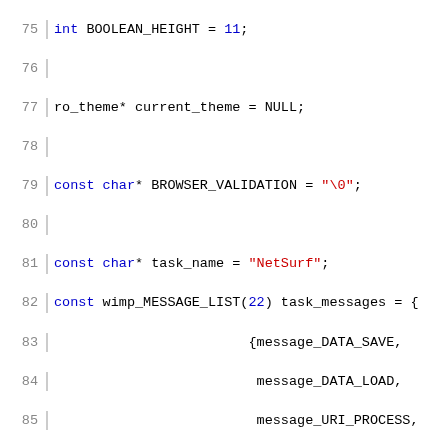[Figure (screenshot): Source code listing in C showing variable declarations and a wimp_MESSAGE_LIST initialization, lines 75-105, with syntax highlighting: keywords in blue, strings in red, comments in gray italic.]